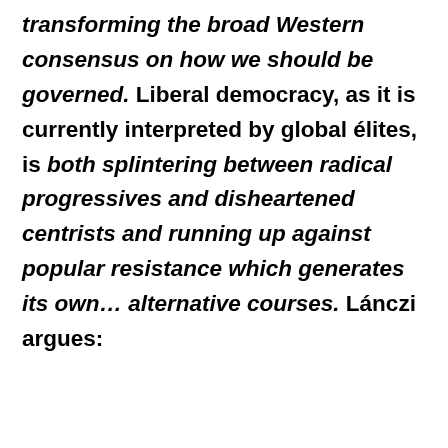transforming the broad Western consensus on how we should be governed. Liberal democracy, as it is currently interpreted by global élites, is both splintering between radical progressives and disheartened centrists and running up against popular resistance which generates its own… alternative courses. Lánczi argues: